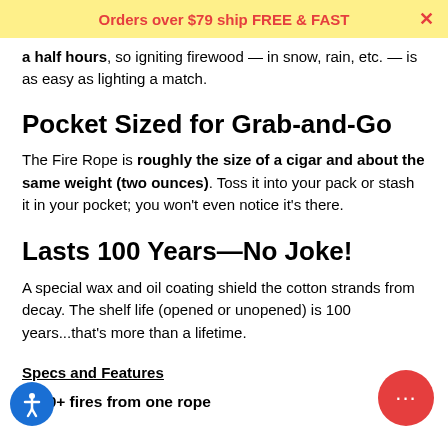Orders over $79 ship FREE & FAST
a half hours, so igniting firewood — in snow, rain, etc. — is as easy as lighting a match.
Pocket Sized for Grab-and-Go
The Fire Rope is roughly the size of a cigar and about the same weight (two ounces). Toss it into your pack or stash it in your pocket; you won't even notice it's there.
Lasts 100 Years—No Joke!
A special wax and oil coating shield the cotton strands from decay. The shelf life (opened or unopened) is 100 years...that's more than a lifetime.
Specs and Features
50+ fires from one rope